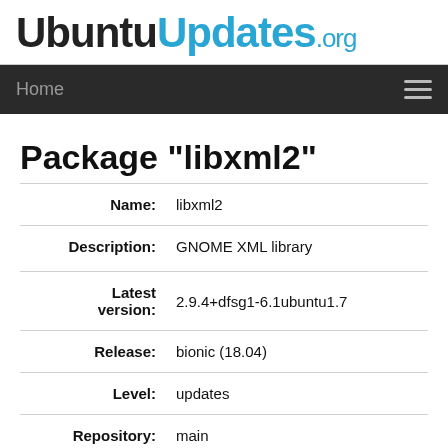UbuntuUpdates.org
Home
Package "libxml2"
| Field | Value |
| --- | --- |
| Name: | libxml2 |
| Description: | GNOME XML library |
| Latest version: | 2.9.4+dfsg1-6.1ubuntu1.7 |
| Release: | bionic (18.04) |
| Level: | updates |
| Repository: | main |